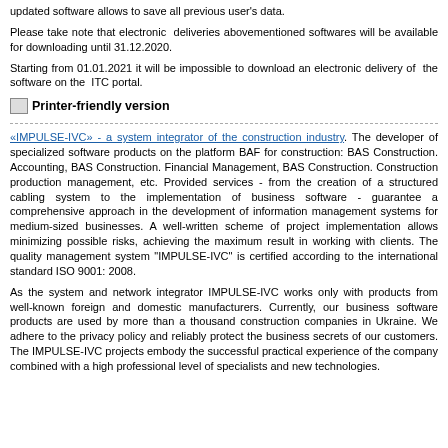updated software allows to save all previous user's data.
Please take note that electronic deliveries abovementioned softwares will be available for downloading until 31.12.2020.
Starting from 01.01.2021 it will be impossible to download an electronic delivery of the software on the ITC portal.
Printer-friendly version
«IMPULSE-IVC» - a system integrator of the construction industry. The developer of specialized software products on the platform BAF for construction: BAS Construction. Accounting, BAS Construction. Financial Management, BAS Construction. Construction production management, etc. Provided services - from the creation of a structured cabling system to the implementation of business software - guarantee a comprehensive approach in the development of information management systems for medium-sized businesses. A well-written scheme of project implementation allows minimizing possible risks, achieving the maximum result in working with clients. The quality management system "IMPULSE-IVC" is certified according to the international standard ISO 9001: 2008.
As the system and network integrator IMPULSE-IVC works only with products from well-known foreign and domestic manufacturers. Currently, our business software products are used by more than a thousand construction companies in Ukraine. We adhere to the privacy policy and reliably protect the business secrets of our customers. The IMPULSE-IVC projects embody the successful practical experience of the company combined with a high professional level of specialists and new technologies.